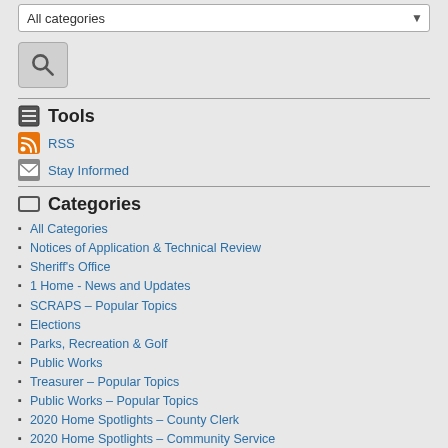All categories
[Figure (other): Search button with magnifying glass icon]
Tools
RSS
Stay Informed
Categories
All Categories
Notices of Application & Technical Review
Sheriff's Office
1 Home - News and Updates
SCRAPS – Popular Topics
Elections
Parks, Recreation & Golf
Public Works
Treasurer – Popular Topics
Public Works – Popular Topics
2020 Home Spotlights – County Clerk
2020 Home Spotlights – Community Service